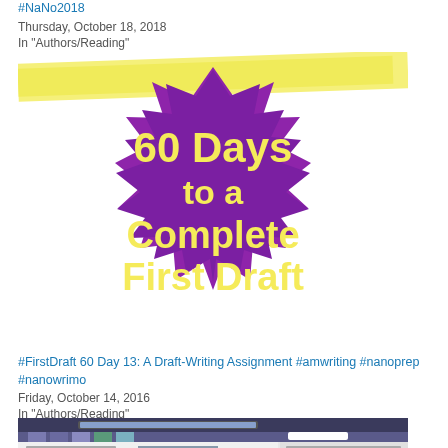#NaNo2018
Thursday, October 18, 2018
In "Authors/Reading"
[Figure (illustration): Purple starburst badge with yellow text reading '60 Days to a Complete First Draft' on a yellow banner background]
#FirstDraft 60 Day 13: A Draft-Writing Assignment #amwriting #nanoprep #nanowrimo
Friday, October 14, 2016
In "Authors/Reading"
[Figure (screenshot): Screenshot of a website called The Spymaster's Daughter blog with a castle photo]